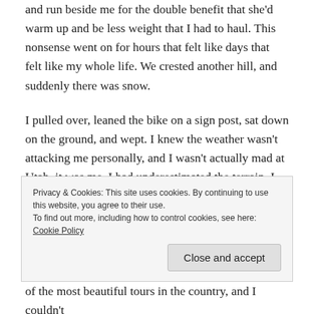and run beside me for the double benefit that she'd warm up and be less weight that I had to haul.  This nonsense went on for hours that felt like days that felt like my whole life.  We crested another hill, and suddenly there was snow.
I pulled over, leaned the bike on a sign post, sat down on the ground, and wept.  I knew the weather wasn't attacking me personally, and I wasn't actually mad at Utah, it was me.  I had underestimated the terrain.  I had misjudged the weather.  I had overestimated my own strength (and ability to adapt).  I had definitely
Privacy & Cookies: This site uses cookies. By continuing to use this website, you agree to their use.
To find out more, including how to control cookies, see here: Cookie Policy
of the most beautiful tours in the country, and I couldn't